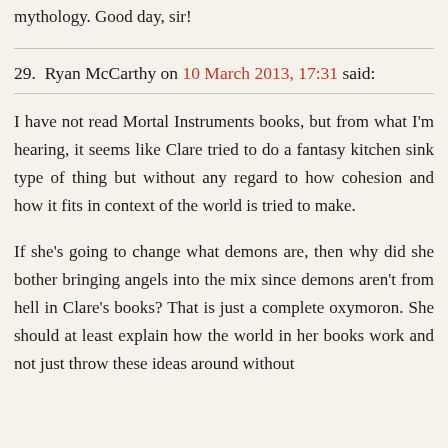mythology. Good day, sir!
29. Ryan McCarthy on 10 March 2013, 17:31 said:
I have not read Mortal Instruments books, but from what I'm hearing, it seems like Clare tried to do a fantasy kitchen sink type of thing but without any regard to how cohesion and how it fits in context of the world is tried to make.
If she's going to change what demons are, then why did she bother bringing angels into the mix since demons aren't from hell in Clare's books? That is just a complete oxymoron. She should at least explain how the world in her books work and not just throw these ideas around without